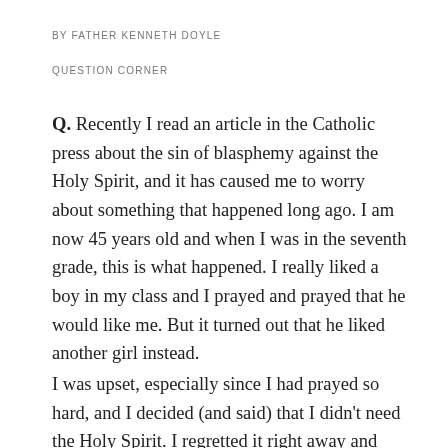BY FATHER KENNETH DOYLE
QUESTION CORNER
Q. Recently I read an article in the Catholic press about the sin of blasphemy against the Holy Spirit, and it has caused me to worry about something that happened long ago. I am now 45 years old and when I was in the seventh grade, this is what happened. I really liked a boy in my class and I prayed and prayed that he would like me. But it turned out that he liked another girl instead.
I was upset, especially since I had prayed so hard, and I decided (and said) that I didn't need the Holy Spirit. I regretted it right away and went